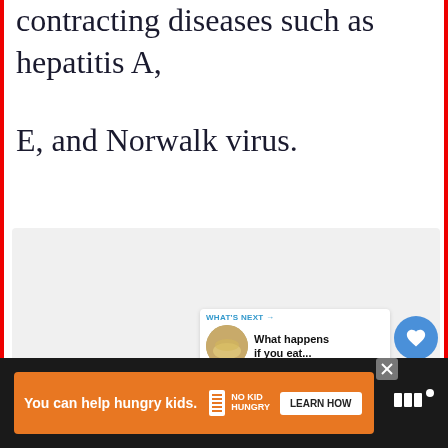contracting diseases such as hepatitis A,
E, and Norwalk virus.
[Figure (other): Video or media placeholder area with dots pagination, heart/like button, share button, and a 'What's Next' recommendation card showing 'What happens if you eat...']
You can help hungry kids.  NO KID HUNGRY  LEARN HOW